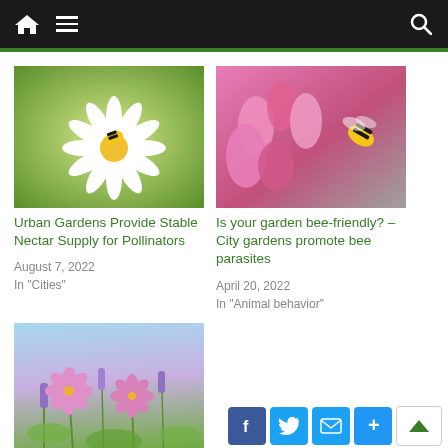Navigation bar with home, menu, and search icons
[Figure (photo): Bee on a white daisy flower with green background]
Urban Gardens Provide Stable Nectar Supply for Pollinators
August 7, 2022
In “Cities”
[Figure (photo): Bee on pink flowers with grey background]
Is your garden bee-friendly? – City gardens promote bee parasites
April 20, 2022
In “Animal behavior”
[Figure (photo): Pink and purple wildflowers against a blue sky]
Community and home gardens are hotspots for pollinators in cities